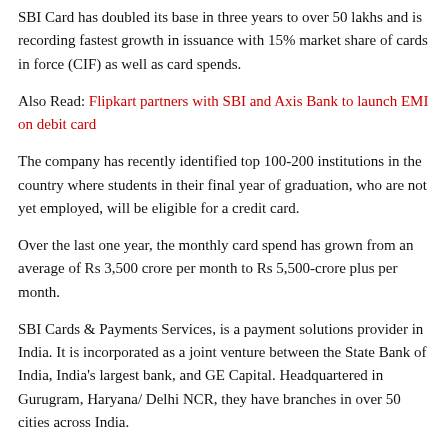SBI Card has doubled its base in three years to over 50 lakhs and is recording fastest growth in issuance with 15% market share of cards in force (CIF) as well as card spends.
Also Read: Flipkart partners with SBI and Axis Bank to launch EMI on debit card
The company has recently identified top 100-200 institutions in the country where students in their final year of graduation, who are not yet employed, will be eligible for a credit card.
Over the last one year, the monthly card spend has grown from an average of Rs 3,500 crore per month to Rs 5,500-crore plus per month.
SBI Cards & Payments Services, is a payment solutions provider in India. It is incorporated as a joint venture between the State Bank of India, India's largest bank, and GE Capital. Headquartered in Gurugram, Haryana/ Delhi NCR, they have branches in over 50 cities across India.